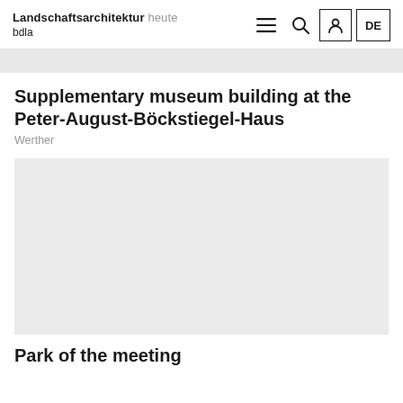Landschaftsarchitektur heute bdla
[Figure (photo): Top image strip - partially visible grey image]
Supplementary museum building at the Peter-August-Böckstiegel-Haus
Werther
[Figure (photo): Large grey placeholder image for the project]
Park of the meeting